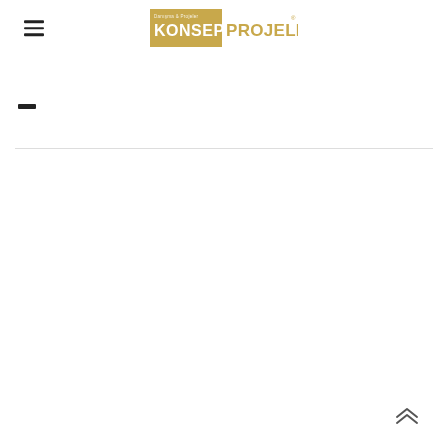Konsept Projeler — Navigation header with hamburger menu and logo
[Figure (logo): Konsept Projeler logo — gold/tan background with 'KONSEPT' in white bold letters and 'PROJELER' in gold letters with 'Danışma & Projeler' tagline and registered trademark symbol]
— (horizontal dash/rule)
[Figure (other): Up arrow / scroll-to-top chevron icon at bottom right]